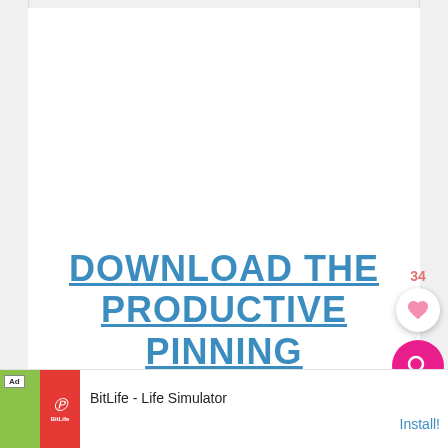DOWNLOAD THE PRODUCTIVE PINNING BLUEPRINT RIGHT NOW!
[Figure (other): Like count badge showing 34, heart/favorite button (white circle with pink heart), and pink search/magnify button]
[Figure (other): Advertisement banner for BitLife - Life Simulator app with Ad label, app icon showing green and red imagery, install button]